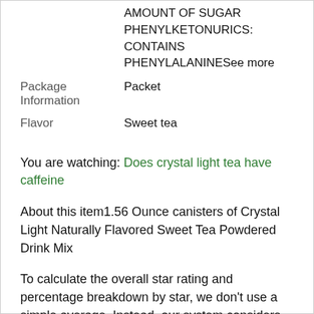|  | AMOUNT OF SUGAR PHENYLKETONURICS: CONTAINS PHENYLALANINESee more |
| Package Information | Packet |
| Flavor | Sweet tea |
You are watching: Does crystal light tea have caffeine
About this item1.56 Ounce canisters of Crystal Light Naturally Flavored Sweet Tea Powdered Drink Mix
To calculate the overall star rating and percentage breakdown by star, we don’t use a simple average. Instead, our system considers things like how recent a review is and if the reviewer bought the item on yellowcomic.com. It also analyzes reviews to verify trustworthiness.